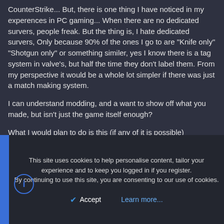CounterStrike... But, there is one thing I have noticed in my experences in PC gaming... When there are no dedicated survers, people freak. But the thing is, I hate dedicated survers, Only because 90% of the ones I go to are "Knife only" "Shotgun only" or something similer, yes I know there is a tag system in valve's, but half the time they don't label them. From my perspective it would be a whole lot simpler if there was just a match making system.
I can understand modding, and a want to show off what you made, but isn't just the game itself enough?
What I would plan to do is this (if any of it is possible)
Make the main online have a matchmaking system
Make dedicated survers an option, but people would have to pay 2$ or something like that to make it theres, and have all of the rules and crap they want.
But the thing with this is that barley anyone would play the standered
This site uses cookies to help personalise content, tailor your experience and to keep you logged in if you register.
By continuing to use this site, you are consenting to our use of cookies.